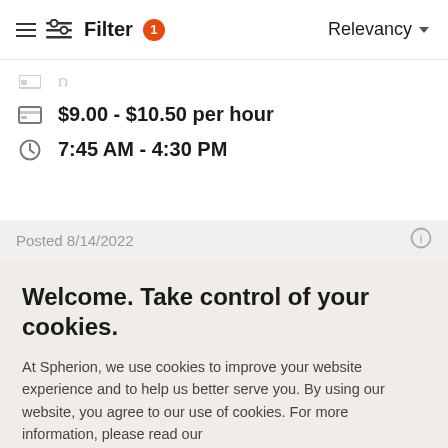Filter 1   Relevancy
$9.00 - $10.50 per hour
7:45 AM - 4:30 PM
Posted 8/14/2022
Welcome. Take control of your cookies.
At Spherion, we use cookies to improve your website experience and to help us better serve you. By using our website, you agree to our use of cookies. For more information, please read our cookie policy
Cookies Settings
Accept Cookies